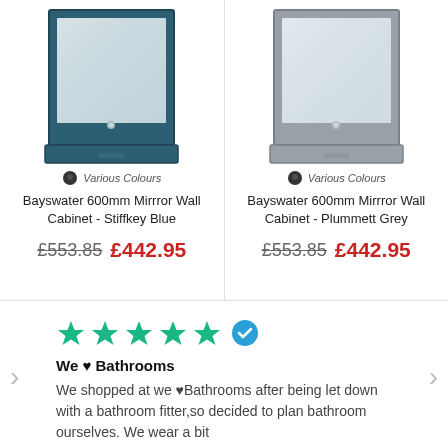[Figure (illustration): Bayswater 600mm Mirror Wall Cabinet in Stiffkey Blue - a dark teal/navy coloured bathroom cabinet with mirror door]
Various Colours
Bayswater 600mm Mirrror Wall Cabinet - Stiffkey Blue
£553.85 £442.95
[Figure (illustration): Bayswater 600mm Mirror Wall Cabinet in Plummett Grey - a grey coloured bathroom cabinet with mirror door]
Various Colours
Bayswater 600mm Mirrror Wall Cabinet - Plummett Grey
£553.85 £442.95
[Figure (other): Five green stars rating with a blue verified checkmark badge]
We ♥ Bathrooms
We shopped at we ♥Bathrooms after being let down with a bathroom fitter,so decided to plan bathroom ourselves. We wear a bit